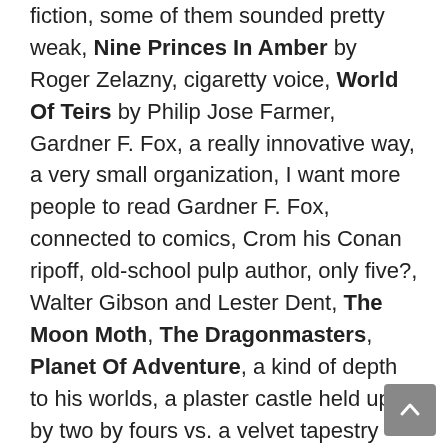fiction, some of them sounded pretty weak, Nine Princes In Amber by Roger Zelazny, cigaretty voice, World Of Teirs by Philip Jose Farmer, Gardner F. Fox, a really innovative way, a very small organization, I want more people to read Gardner F. Fox, connected to comics, Crom his Conan ripoff, old-school pulp author, only five?, Walter Gibson and Lester Dent, The Moon Moth, The Dragonmasters, Planet Of Adventure, a kind of depth to his worlds, a plaster castle held up by two by fours vs. a velvet tapestry with a stone wall with grout made from goblin bones, sketching out a world with a few lines, footnotes, Jorge Luis Borges, granular detail, Philip K. Dick wrote a lot about spies, Mr Jim Moon's show on Piper In The Woods, set in the pacific during WWII, Seabees, I'm a plant, how dryads reproduce, Typee by Herman Melville, a garden of Eden, it takes 20 minutes to build a house vs. pull ropes and get hit with the lash all day, Poul Anderson, The High Crusade is so fun, The Broken Sword, Three Hearts And Three Lions, The Moon Pool by A.